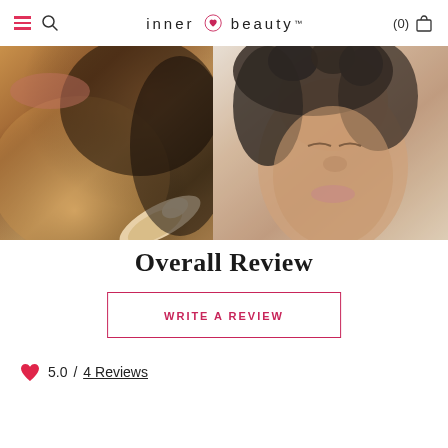inner beauty™ — navigation with hamburger menu, search, cart (0)
[Figure (photo): Two-panel hero image: left panel shows a close-up of a person's chin/jawline with a hand touching their face, warm skin tones; right panel shows a Black woman with natural curly hair, eyes closed, serene expression, light background.]
Overall Review
WRITE A REVIEW
5.0 / 4 Reviews